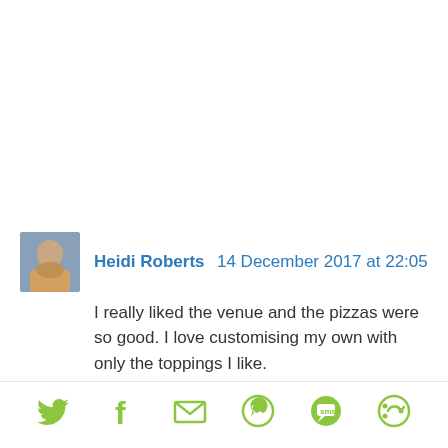Heidi Roberts  14 December 2017 at 22:05
I really liked the venue and the pizzas were so good. I love customising my own with only the toppings I like.
[Figure (other): Social sharing icons row: Twitter bird, Facebook f, email envelope, WhatsApp phone, SMS chat bubble, and a circular arrow/share icon]